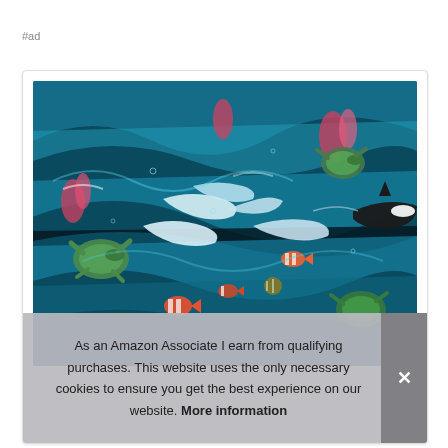#ad
[Figure (illustration): Colorful underwater ocean scene painting showing dolphins, sea turtles, tropical fish, and an orca whale swimming amid blue-green swirling water with coral]
As an Amazon Associate I earn from qualifying purchases. This website uses the only necessary cookies to ensure you get the best experience on our website. More information